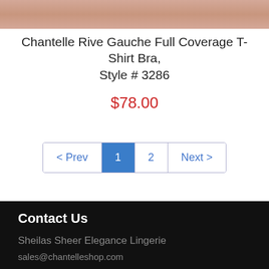[Figure (photo): Partial product image of a bra, showing skin tones, cropped at top of page]
Chantelle Rive Gauche Full Coverage T-Shirt Bra, Style # 3286
$78.00
[Figure (other): Pagination controls: < Prev | 1 (active, blue) | 2 | Next >]
Contact Us
Sheilas Sheer Elegance Lingerie
sales@chantelleshop.com